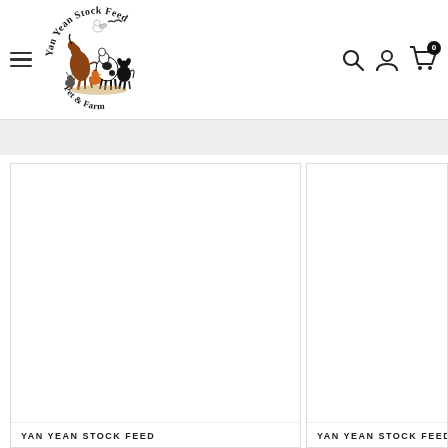[Figure (logo): Yan Yean Stock Feed Pet & Farm logo with animals (horse, cow, chickens, dog, duck, bird) arranged in a circle with text arched above and below]
YAN YEAN STOCK FEED
YAN YEAN STOCK FEED